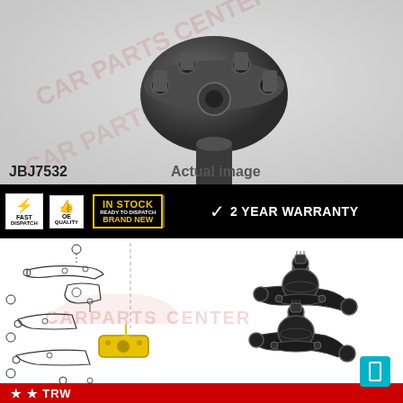[Figure (photo): Close-up photo of a ball joint part (JBJ7532) showing the metal casting with bolts, on a white/grey background with watermark]
JBJ7532
Actual image
[Figure (infographic): Badge bar with: FAST DISPATCH, OE QUALITY, IN STOCK READY TO DISPATCH BRAND NEW, 2 YEAR WARRANTY]
[Figure (engineering-diagram): Exploded engineering diagram of suspension/ball joint assembly on left, two ball joint product photos on right, CARPARTS CENTER watermark, teal info button]
[Figure (logo): Red brand bar at bottom with TRW/brand logo]